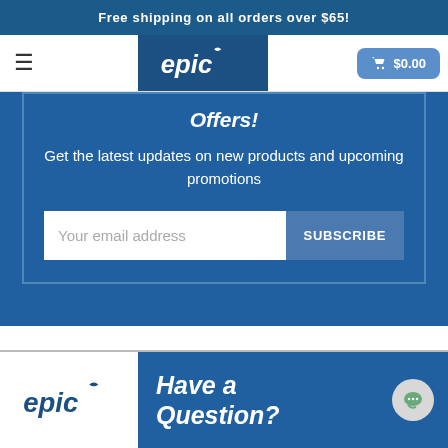Free shipping on all orders over $65!
[Figure (logo): Epic dental products logo in white nav bar with hamburger menu and cart button showing $0.00]
Offers!
Get the latest updates on new products and upcoming promotions
Your email address | SUBSCRIBE
[Figure (logo): Epic logo in bottom footer section with Have a Question? text and chat bubble icon]